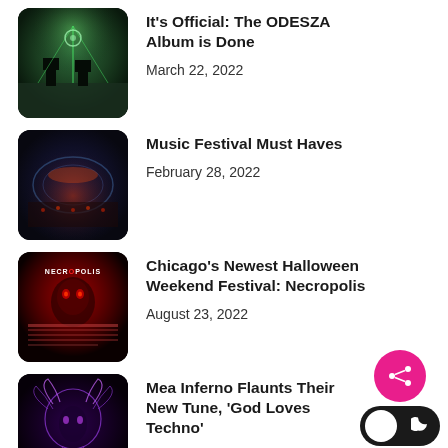[Figure (photo): ODESZA concert/album art - dark image with green lights and silhouettes]
It's Official: The ODESZA Album is Done
March 22, 2022
[Figure (photo): Music festival night scene with illuminated dome structure and crowd]
Music Festival Must Haves
February 28, 2022
[Figure (photo): Necropolis festival poster with red/dark graphics and artist lineup]
Chicago's Newest Halloween Weekend Festival: Necropolis
August 23, 2022
[Figure (photo): Dark album/promotional art with abstract creature/skull design in purple tones]
Mea Inferno Flaunts Their New Tune, 'God Loves Techno'